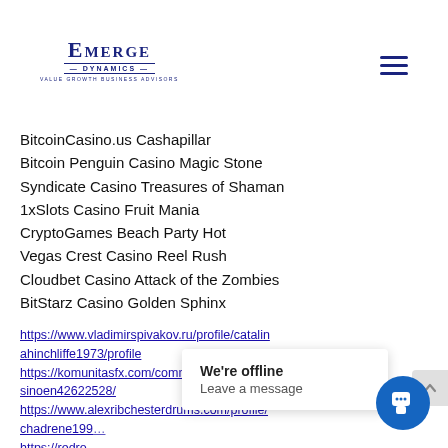Emerge Dynamics — Value Growth Business Advisors
BitcoinCasino.us Cashapillar
Bitcoin Penguin Casino Magic Stone
Syndicate Casino Treasures of Shaman
1xSlots Casino Fruit Mania
CryptoGames Beach Party Hot
Vegas Crest Casino Reel Rush
Cloudbet Casino Attack of the Zombies
BitStarz Casino Golden Sphinx
https://www.vladimirspivakov.ru/profile/catalin ahinchliffe1973/profile
https://komunitasfx.com/community/profile/casinoen42622528/
https://www.alexribchesterdrums.com/profile/chadrene19...
https://redro.../e/casinoen17/26666/